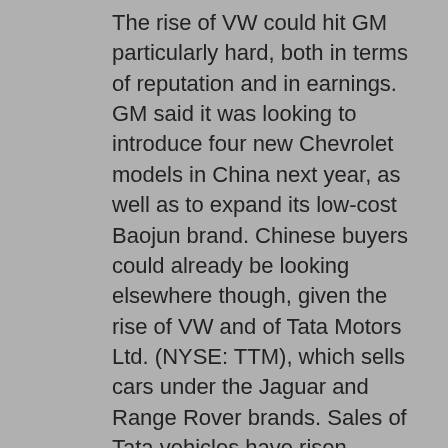The rise of VW could hit GM particularly hard, both in terms of reputation and in earnings. GM said it was looking to introduce four new Chevrolet models in China next year, as well as to expand its low-cost Baojun brand. Chinese buyers could already be looking elsewhere though, given the rise of VW and of Tata Motors Ltd. (NYSE: TTM), which sells cars under the Jaguar and Range Rover brands. Sales of Tata vehicles have risen sharply in the past year, and the company is set to begin producing cars in China.
[By Elliott Gue]
This so-called One Ford initiative involved the US$2.3 billion sale of Jaguar and Land Rover to Tata Motors (TTM) and the US$1.6 billion divestment of Volvo to Geely Automobile Holdings (GELYF.PK). After selling the majority of its stake in Mazda Motor Corp (MZDAY.PK) and divesting in Mercury, Ford Motor Company and...